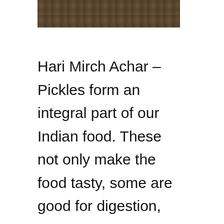[Figure (photo): Partial photograph showing a dark brown textured surface, cropped at top of page]
Hari Mirch Achar – Pickles form an integral part of our Indian food. These not only make the food tasty, some are good for digestion, some preserve a fruit or vegetable so that it can be